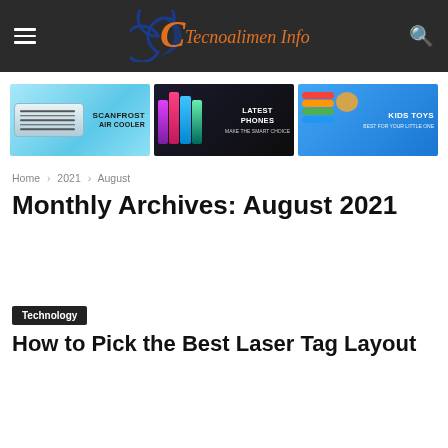Tecnoalimen Info — site navigation header with hamburger menu, logo, and search icon
[Figure (illustration): Three advertisement banners side by side: (1) Scanfrost Air Cooler on cyan background, (2) Latest Phones on dark background with colorful smartphones, (3) Kids Toys on blue background with colorful toys]
Home › 2021 › August
Monthly Archives: August 2021
Technology
How to Pick the Best Laser Tag Layout